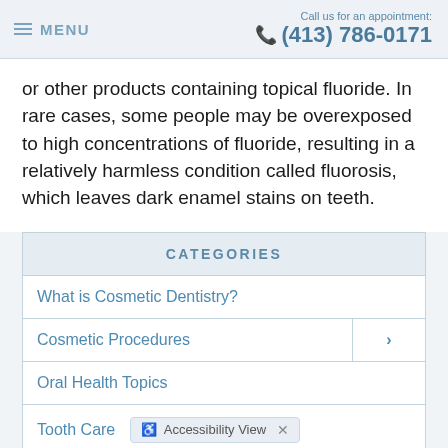MENU | Call us for an appointment: (413) 786-0171
or other products containing topical fluoride. In rare cases, some people may be overexposed to high concentrations of fluoride, resulting in a relatively harmless condition called fluorosis, which leaves dark enamel stains on teeth.
| CATEGORIES |
| --- |
| What is Cosmetic Dentistry? |
| Cosmetic Procedures | > |
| Oral Health Topics |
| Tooth Care |